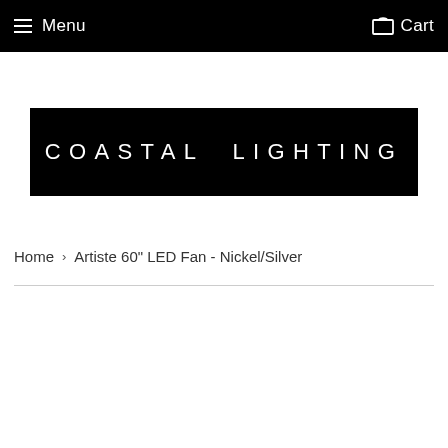Menu  Cart
[Figure (logo): Coastal Lighting logo — white text on black background reading COASTAL LIGHTING in wide letter-spaced caps]
Home › Artiste 60" LED Fan - Nickel/Silver